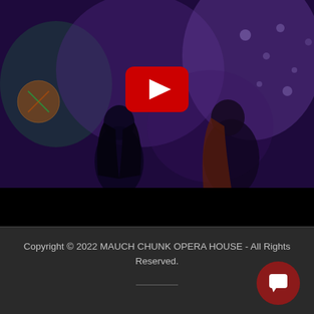[Figure (screenshot): YouTube video thumbnail showing people in a dark purple/blue lit scene with a YouTube play button overlay in the center. Two figures visible, one with dark hair on the left and one with red/auburn hair on the right.]
Copyright © 2022 MAUCH CHUNK OPERA HOUSE - All Rights Reserved.